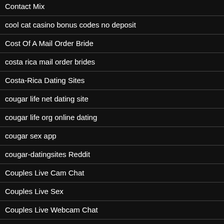Contact Mix
cool cat casino bonus codes no deposit
Cost Of A Mail Order Bride
costa rica mail order brides
Costa-Rica Dating Sites
cougar life net dating site
cougar life org online dating
cougar sex app
cougar-datingsites Reddit
Couples Live Cam Chat
Couples Live Sex
Couples Live Webcam Chat
craigslist mpls mn personals